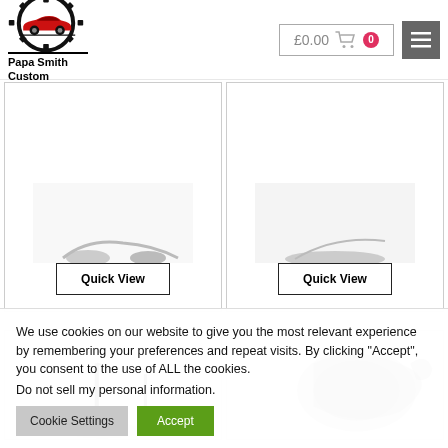[Figure (logo): Papa Smith Custom logo with gear/cog icon and red car silhouette]
£0.00
[Figure (screenshot): Two product cards each with a Quick View button, partial product images visible]
[Figure (screenshot): Two product cards with car antenna/accessory product images (partial, bottom row)]
We use cookies on our website to give you the most relevant experience by remembering your preferences and repeat visits. By clicking “Accept”, you consent to the use of ALL the cookies.
Do not sell my personal information.
Cookie Settings
Accept